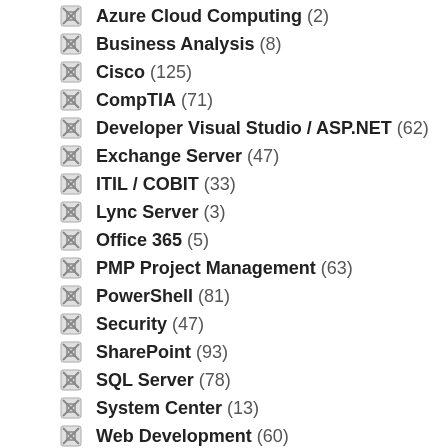Azure Cloud Computing (2)
Business Analysis (8)
Cisco (125)
CompTIA (71)
Developer Visual Studio / ASP.NET (62)
Exchange Server (47)
ITIL / COBIT (33)
Lync Server (3)
Office 365 (5)
PMP Project Management (63)
PowerShell (81)
Security (47)
SharePoint (93)
SQL Server (78)
System Center (13)
Web Development (60)